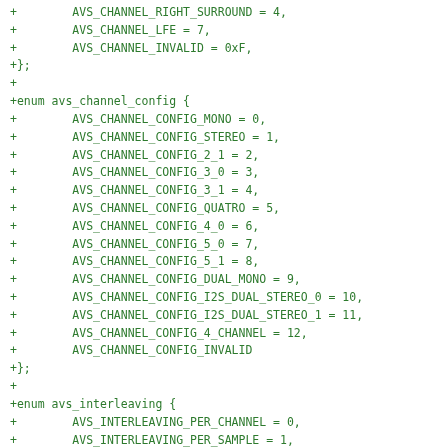[Figure (other): Source code diff showing C enum definitions for AVS_CHANNEL_RIGHT_SURROUND, AVS_CHANNEL_LFE, AVS_CHANNEL_INVALID, avs_channel_config enum with multiple constants, and avs_interleaving enum with AVS_INTERLEAVING_PER_CHANNEL and AVS_INTERLEAVING_PER_SAMPLE constants.]